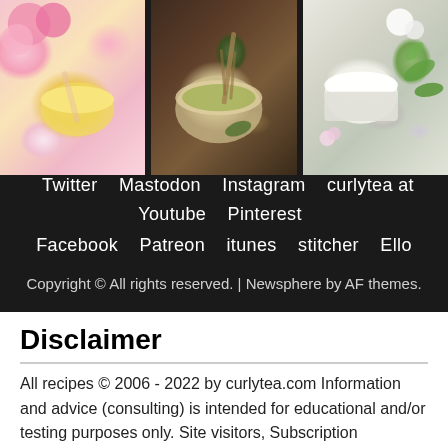[Figure (photo): Three food/beauty photos side by side: left shows a cream/balm in a glass jar with pink roses; center shows matcha tea in a bowl with a bamboo whisk on a dark wooden surface; right shows white cream jar/lid with green leaves and flowers on white background.]
Twitter   Mastodon   Instagram   curlytea at Youtube   Pinterest
Facebook   Patreon   itunes   stitcher   Ello
Copyright © All rights reserved. | Newsphere by AF themes.
Disclaimer
All recipes © 2006 - 2022 by curlytea.com Information and advice (consulting) is intended for educational and/or testing purposes only. Site visitors, Subscription Members, people who are communicating to curlytea.com via email, clients and customers agree to use his/her own best judgment wh... testing out any advice, ingredient, item, recommended... etc. You are responsible for reading the Disclaimer an... and Services. Curlytea.com is in no way legally responsible for